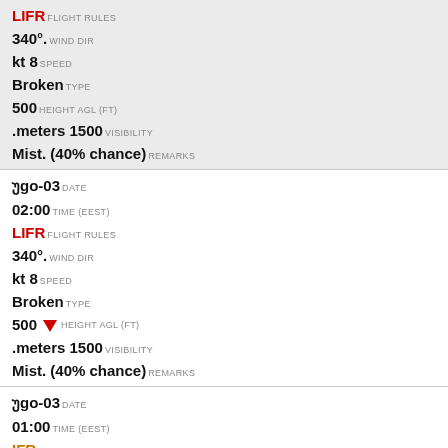LIFR FLIGHT RULES
340°. WIND DIR
kt 8 SPEED
Broken TYPE
500 HEIGHT AGL (FT)
.meters 1500 VISIBILITY
Mist. (40% chance) REMARKS
უgo-03 DATE
02:00 TIME (EEST)
LIFR FLIGHT RULES
340°. WIND DIR
kt 8 SPEED
Broken TYPE
500 ↓ HEIGHT AGL (FT)
.meters 1500 VISIBILITY
Mist. (40% chance) REMARKS
უgo-03 DATE
01:00 TIME (EEST)
IFR FLIGHT RULES
340°. WIND DIR